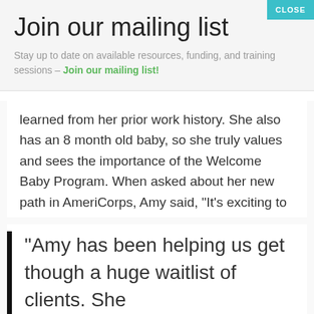Join our mailing list
Stay up to date on available resources, funding, and training sessions – Join our mailing list!
learned from her prior work history. She also has an 8 month old baby, so she truly values and sees the importance of the Welcome Baby Program. When asked about her new path in AmeriCorps, Amy said, "It's exciting to do something different. It's really enjoyable."
"Amy has been helping us get though a huge waitlist of clients. She